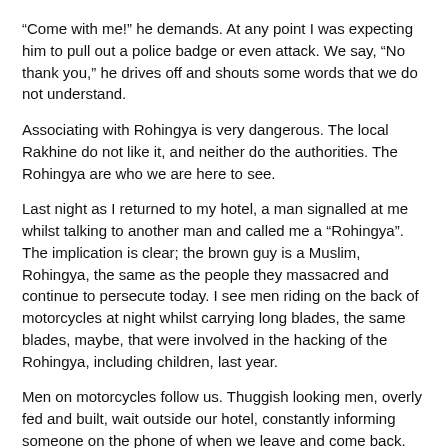“Come with me!” he demands. At any point I was expecting him to pull out a police badge or even attack. We say, “No thank you,” he drives off and shouts some words that we do not understand.
Associating with Rohingya is very dangerous. The local Rakhine do not like it, and neither do the authorities. The Rohingya are who we are here to see.
Last night as I returned to my hotel, a man signalled at me whilst talking to another man and called me a “Rohingya”. The implication is clear; the brown guy is a Muslim, Rohingya, the same as the people they massacred and continue to persecute today. I see men riding on the back of motorcycles at night whilst carrying long blades, the same blades, maybe, that were involved in the hacking of the Rohingya, including children, last year.
Men on motorcycles follow us. Thuggish looking men, overly fed and built, wait outside our hotel, constantly informing someone on the phone of when we leave and come back. Men sit close to us when we have dinner. Our hotel that advertises wifi internet connection suddenly has connection problems, we are unable to contact the outside world via the net. What are they preventing from getting out?
Local Rakhine, who attempt to help the Rohingya, or try and bring goods into the camp markets face being ostracised. Last week, three such Rakhine were beat up in the Rakhine part of town then forced to